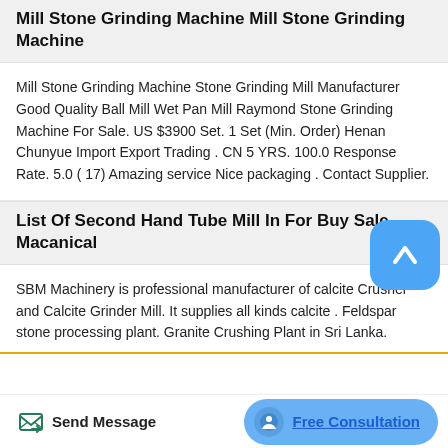Mill Stone Grinding Machine Mill Stone Grinding Machine
Mill Stone Grinding Machine Stone Grinding Mill Manufacturer Good Quality Ball Mill Wet Pan Mill Raymond Stone Grinding Machine For Sale. US $3900 Set. 1 Set (Min. Order) Henan Chunyue Import Export Trading . CN 5 YRS. 100.0 Response Rate. 5.0 ( 17) Amazing service Nice packaging . Contact Supplier.
List Of Second Hand Tube Mill In For Buy Sale Macanical
SBM Machinery is professional manufacturer of calcite Crusher and Calcite Grinder Mill. It supplies all kinds calcite . Feldspar stone processing plant. Granite Crushing Plant in Sri Lanka.
[Figure (other): Floating blue rounded square button with white upward chevron/arrow icon]
Send Message   Free Consultation